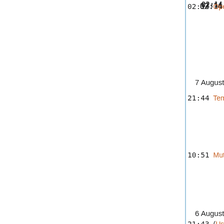02:14 OpenGL (diff | hist) . . (-222) . . Henk-Jan van Tuyl (talk | contribs) (This page is no longer a stub; Haskell Platform is obsolete)
7 August 2022
21:44 Template:Main/Headlines (diff | hist) . . (+108) . . Henk-Jan van Tuyl (talk | contribs) (Added "GHC 9.4.1 is released")
10:51 Mutually recursive modules (diff | hist) . . (+33) . . Ppelleti (talk | contribs) (→GHC: Fix link to users guide)
6 August 2022
21:43 (User creation log) . .